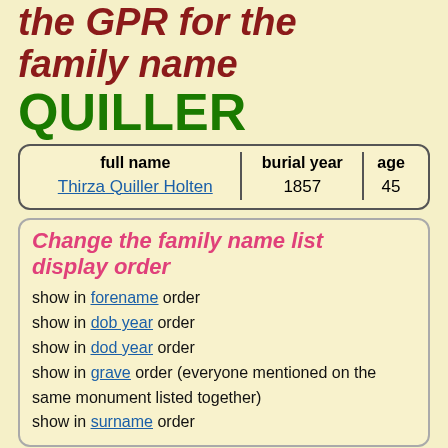the GPR for the family name QUILLER
| full name | burial year | age |
| --- | --- | --- |
| Thirza Quiller Holten | 1857 | 45 |
Change the family name list display order
show in forename order
show in dob year order
show in dod year order
show in grave order (everyone mentioned on the same monument listed together)
show in surname order
Introduction